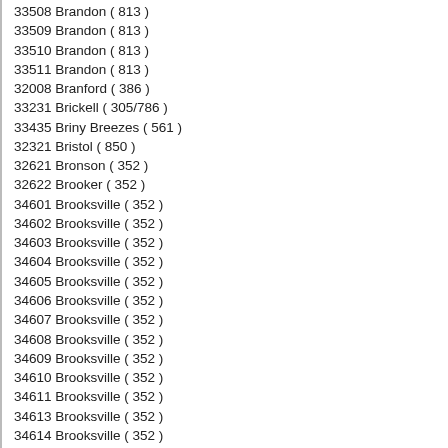33508 Brandon ( 813 )
33509 Brandon ( 813 )
33510 Brandon ( 813 )
33511 Brandon ( 813 )
32008 Branford ( 386 )
33231 Brickell ( 305/786 )
33435 Briny Breezes ( 561 )
32321 Bristol ( 850 )
32621 Bronson ( 352 )
32622 Brooker ( 352 )
34601 Brooksville ( 352 )
34602 Brooksville ( 352 )
34603 Brooksville ( 352 )
34604 Brooksville ( 352 )
34605 Brooksville ( 352 )
34606 Brooksville ( 352 )
34607 Brooksville ( 352 )
34608 Brooksville ( 352 )
34609 Brooksville ( 352 )
34610 Brooksville ( 352 )
34611 Brooksville ( 352 )
34613 Brooksville ( 352 )
34614 Brooksville ( 352 )
33388 Broward Mall ( 954/754 )
32455 Bruce ( 850 )
33438 Bryant ( 561 )
33439 Bryant ( 561 )